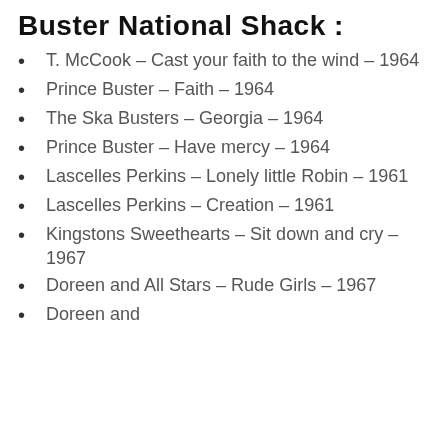Buster National Shack :
T. McCook – Cast your faith to the wind – 1964
Prince Buster – Faith – 1964
The Ska Busters – Georgia – 1964
Prince Buster – Have mercy – 1964
Lascelles Perkins – Lonely little Robin – 1961
Lascelles Perkins – Creation – 1961
Kingstons Sweethearts – Sit down and cry – 1967
Doreen and All Stars – Rude Girls – 1967
Doreen and